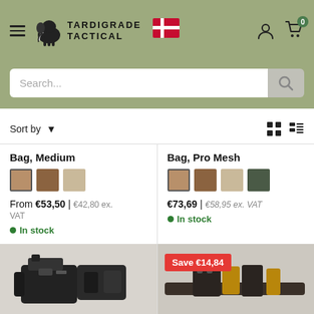[Figure (logo): Tardigrade Tactical logo with Danish flag]
Search...
Sort by
Bag, Medium
From €53,50 | €42,80 ex. VAT
In stock
Bag, Pro Mesh
€73,69 | €58,95 ex. VAT
In stock
Save €14,84
[Figure (photo): Tactical bag product photo bottom left]
[Figure (photo): Tactical bag product photo bottom right]